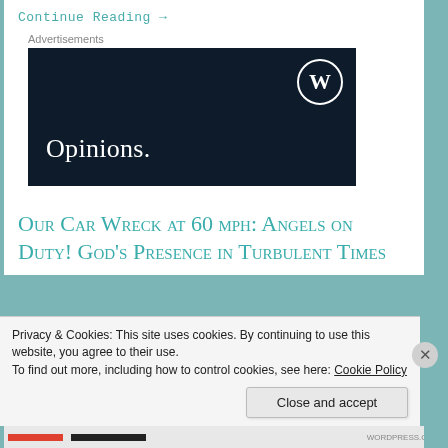Continue Reading →
Advertisements
[Figure (screenshot): WordPress.com advertisement banner with dark navy background, white WordPress logo (W in circle) top right, and 'Opinions.' text in white serif font]
Our Car Wreck at 60 mph: Angels on Duty! God's Presence in Turbulent Times
Privacy & Cookies: This site uses cookies. By continuing to use this website, you agree to their use.
To find out more, including how to control cookies, see here: Cookie Policy
Close and accept